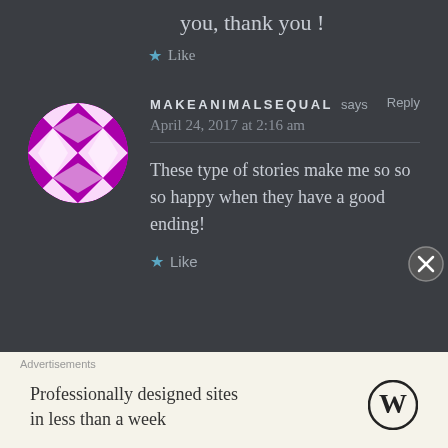you, thank you !
★ Like
MAKEANIMALSEQUAL says Reply
April 24, 2017 at 2:16 am
These type of stories make me so so so happy when they have a good ending!
★ Like
Advertisements
Professionally designed sites in less than a week